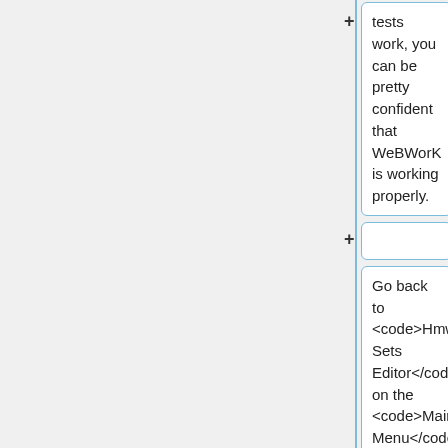tests work, you can be pretty confident that WeBWorK is working properly.
Go back to <code>Hmwk Sets Editor</code> on the <code>Main Menu</code>. Then select (by clicking the circle button) <code>Import</code>, select <code>setOrientation.def</code> from the <code>from</code>